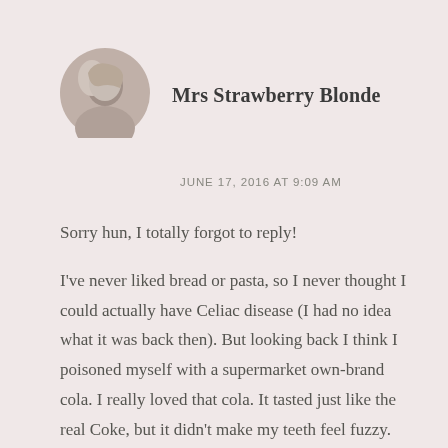[Figure (photo): Circular avatar photo of a person with blonde/light hair, shown in grayscale/sepia tone]
Mrs Strawberry Blonde
JUNE 17, 2016 AT 9:09 AM
Sorry hun, I totally forgot to reply!

I've never liked bread or pasta, so I never thought I could actually have Celiac disease (I had no idea what it was back then). But looking back I think I poisoned myself with a supermarket own-brand cola. I really loved that cola. It tasted just like the real Coke, but it didn't make my teeth feel fuzzy. And it was really cheap! But the problem was the caramel